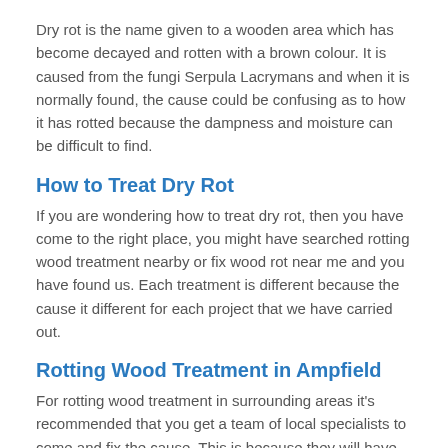Dry rot is the name given to a wooden area which has become decayed and rotten with a brown colour. It is caused from the fungi Serpula Lacrymans and when it is normally found, the cause could be confusing as to how it has rotted because the dampness and moisture can be difficult to find.
How to Treat Dry Rot
If you are wondering how to treat dry rot, then you have come to the right place, you might have searched rotting wood treatment nearby or fix wood rot near me and you have found us. Each treatment is different because the cause it different for each project that we have carried out.
Rotting Wood Treatment in Ampfield
For rotting wood treatment in surrounding areas it's recommended that you get a team of local specialists to come and fix the cause. This is because they will have the experience and knowledge of how to deal with the issue.
There are companies in the industry who might claim that they know what to do but they could fix some of the issues and leave